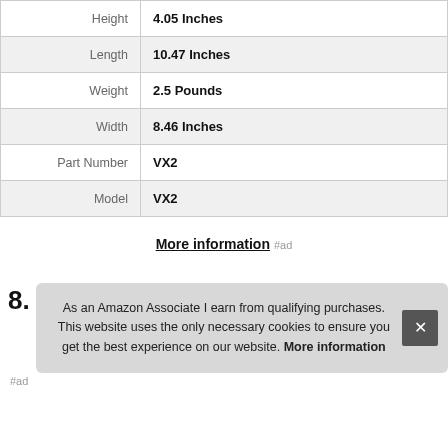| Attribute | Value |
| --- | --- |
| Height | 4.05 Inches |
| Length | 10.47 Inches |
| Weight | 2.5 Pounds |
| Width | 8.46 Inches |
| Part Number | VX2 |
| Model | VX2 |
More information #ad
8. As an Amazon Associate I earn from qualifying purchases. This website uses the only necessary cookies to ensure you get the best experience on our website. More information
#ad